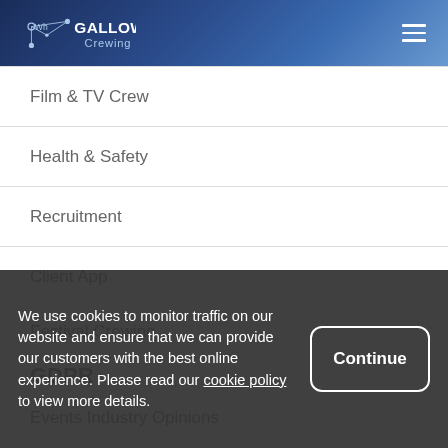Gallowglass Crewing
Film & TV Crew
Health & Safety
Recruitment
Client App
Festival Crewing
GDPR
Events Industry Opinions
We use cookies to monitor traffic on our website and ensure that we can provide our customers with the best online experience. Please read our cookie policy to view more details.
Continue